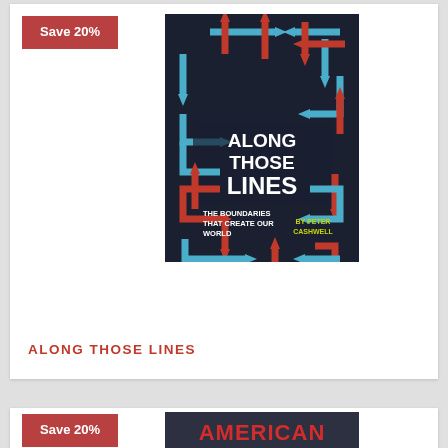[Figure (illustration): Book cover for 'Along Those Lines: The Boundaries That Create Our World' by Peter Cashwell. Dark blue/black background with red and blue arrows in many directions forming a maze-like pattern. White bold text reads 'ALONG THOSE LINES' in the center, with subtitle 'The Boundaries That Create Our World' and author name 'BY PETER CASHWELL' in yellow.]
Save 20%
ALONG THOSE LINES
Save 20%
[Figure (illustration): Partial book cover for 'American Places' showing bold red title text 'AMERICAN' and white text 'PLACES' on a dark background, with small rectangular images at the bottom showing various American locations.]